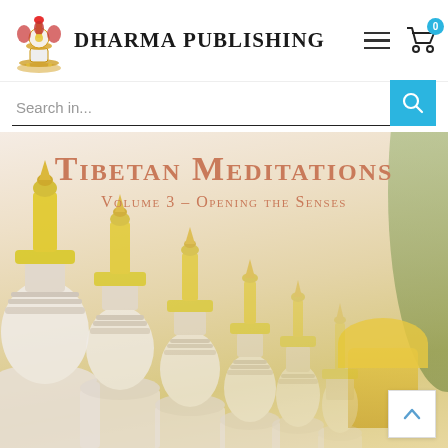[Figure (logo): Dharma Publishing logo with Tibetan decorative emblem and text]
Dharma Publishing
Search in...
[Figure (photo): Hero banner showing Tibetan Meditations Volume 3 - Opening the Senses, with white stupas in a row fading into a golden background with trees]
Tibetan Meditations
Volume 3 – Opening the Senses